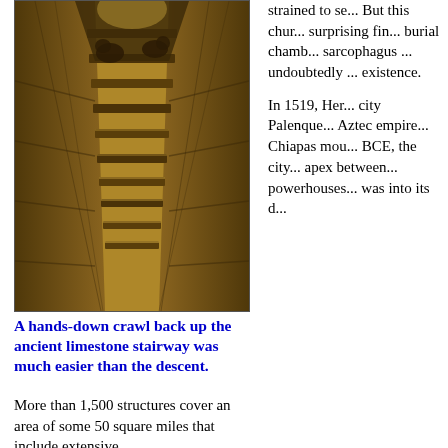[Figure (photo): Interior of ancient limestone stairway/tunnel passage, showing workers or people crawling up the narrow passage lit with warm amber/brown tones. Stone steps and carved limestone walls visible.]
A hands-down crawl back up the ancient limestone stairway was much easier than the descent.
More than 1,500 structures cover an area of some 50 square miles that include extensive
strained to se... But this chu... surprising fin... burial chamb... sarcophagus ... undoubtedly ... existence.

In 1519, Her... city Palenque... Aztec empire... Chiapas mou... BCE, the city... apex between... powerhouses... was into its d...